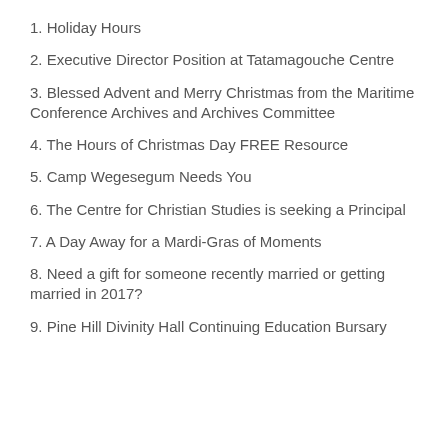1. Holiday Hours
2. Executive Director Position at Tatamagouche Centre
3. Blessed Advent and Merry Christmas from the Maritime Conference Archives and Archives Committee
4. The Hours of Christmas Day FREE Resource
5. Camp Wegesegum Needs You
6. The Centre for Christian Studies is seeking a Principal
7. A Day Away for a Mardi-Gras of Moments
8. Need a gift for someone recently married or getting married in 2017?
9. Pine Hill Divinity Hall Continuing Education Bursary